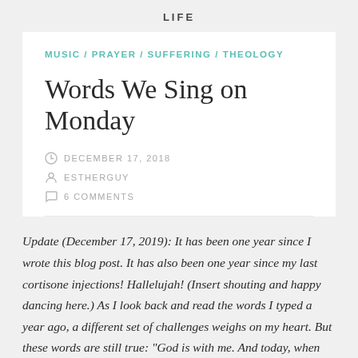LIFE
MUSIC / PRAYER / SUFFERING / THEOLOGY
Words We Sing on Monday
DECEMBER 17, 2018
ESTHERGUY
6 COMMENTS
Update (December 17, 2019): It has been one year since I wrote this blog post. It has also been one year since my last cortisone injections! Hallelujah! (Insert shouting and happy dancing here.) As I look back and read the words I typed a year ago, a different set of challenges weighs on my heart. But these words are still true: "God is with me. And today, when my